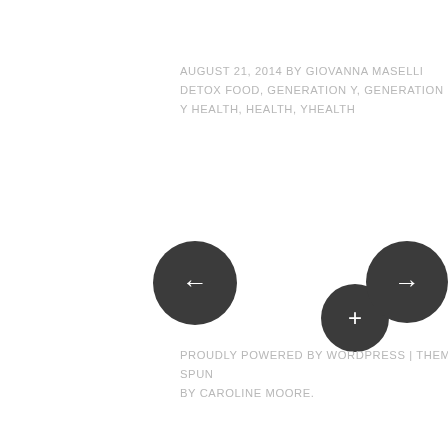AUGUST 21, 2014 BY GIOVANNA MASELLI DETOX FOOD, GENERATION Y, GENERATION Y HEALTH, HEALTH, YHEALTH
[Figure (other): Navigation buttons: left arrow circle, plus circle (center), right arrow circle]
PROUDLY POWERED BY WORDPRESS | THEME: SPUN BY CAROLINE MOORE.